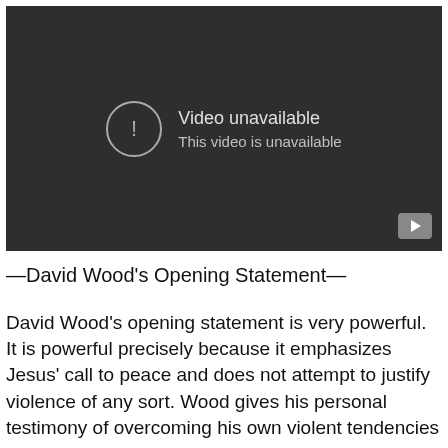[Figure (screenshot): Embedded video player showing 'Video unavailable / This video is unavailable' message on a dark background with a play button icon in the bottom right.]
—David Wood's Opening Statement—
David Wood's opening statement is very powerful. It is powerful precisely because it emphasizes Jesus' call to peace and does not attempt to justify violence of any sort. Wood gives his personal testimony of overcoming his own violent tendencies